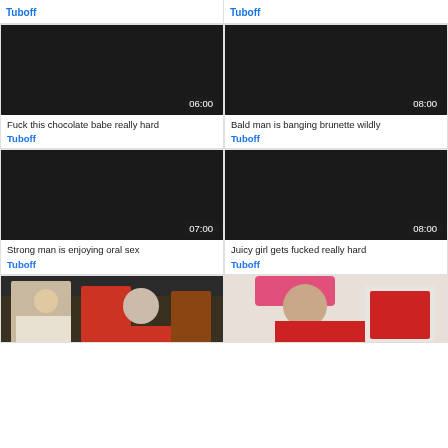Tuboff
Tuboff
[Figure (screenshot): Black video thumbnail with duration 06:00]
[Figure (screenshot): Black video thumbnail with duration 08:00]
Fuck this chocolate babe really hard
Tuboff
Bald man is banging brunette wildly
Tuboff
[Figure (screenshot): Black video thumbnail with duration 07:00]
[Figure (screenshot): Black video thumbnail with duration 08:00]
Strong man is enjoying oral sex
Tuboff
Juicy girl gets fucked really hard
Tuboff
[Figure (photo): Partial thumbnail showing classroom scene with woman in glasses and person in red]
[Figure (photo): Partial thumbnail showing woman in pink cap reading a book]